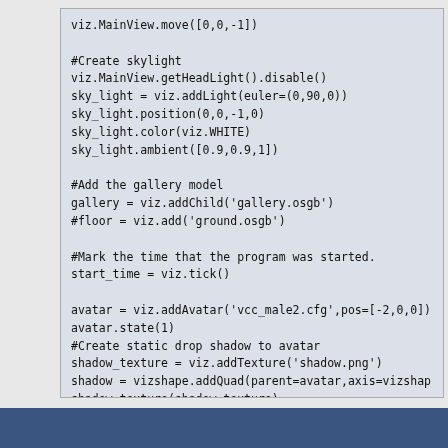[Figure (screenshot): Code block showing Python/Vizard script for creating a skylight, gallery model, avatar with shadow, and time tracking.]